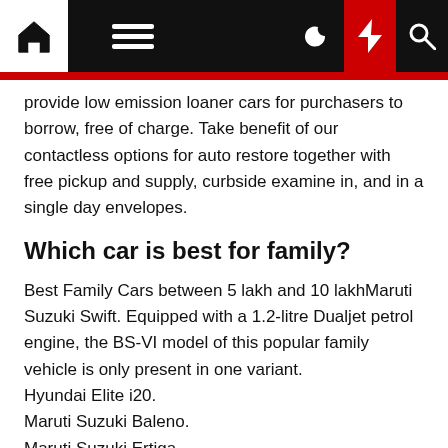Navigation bar with home, menu, moon, bolt, and search icons
provide low emission loaner cars for purchasers to borrow, free of charge. Take benefit of our contactless options for auto restore together with free pickup and supply, curbside examine in, and in a single day envelopes.
Which car is best for family?
Best Family Cars between 5 lakh and 10 lakhMaruti Suzuki Swift. Equipped with a 1.2-litre Dualjet petrol engine, the BS-VI model of this popular family vehicle is only present in one variant.
Hyundai Elite i20.
Maruti Suzuki Baleno.
Maruti Suzuki Ertiga.
Mahindra Bolero.